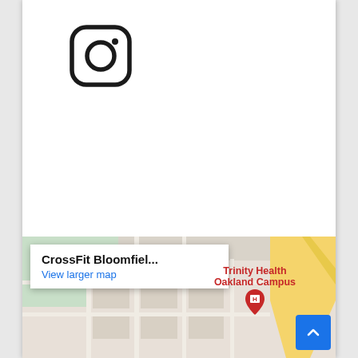[Figure (logo): Instagram logo icon — rounded square outline with circle and dot inside, black on white]
[Figure (map): Google Maps screenshot showing CrossFit Bloomfiel... location with info box 'CrossFit Bloomfiel... / View larger map' and Trinity Health Oakland Campus hospital marker in red, scroll-to-top blue button in bottom right]